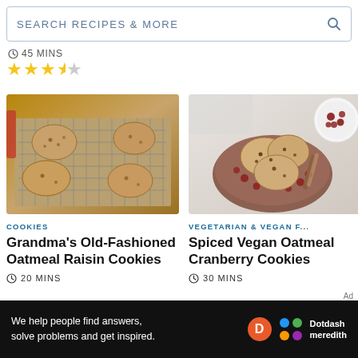SEARCH RECIPES & MORE
45 MINS
[Figure (other): Star rating showing approximately 3.5 out of 5 stars]
[Figure (photo): Oatmeal raisin cookies on a wire cooling rack on a wooden surface]
COOKIES
Grandma's Old-Fashioned Oatmeal Raisin Cookies
20 MINS
[Figure (photo): Spiced vegan oatmeal cranberry cookies in a brown bowl with dried cranberries and cinnamon sticks on white background]
VEGETARIAN & VEGAN F...
Spiced Vegan Oatmeal Cranberry Cookies
30 MINS
Ad
We help people find answers, solve problems and get inspired.